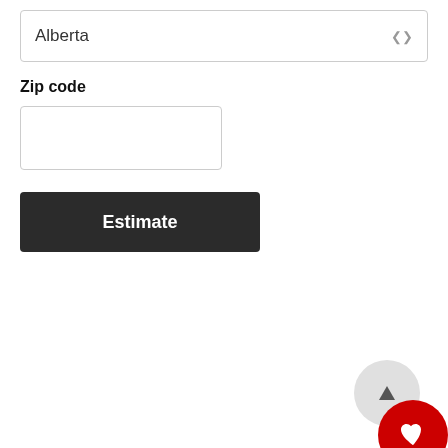Alberta
Zip code
Estimate
You may also like
Usually 3-5 Business Days